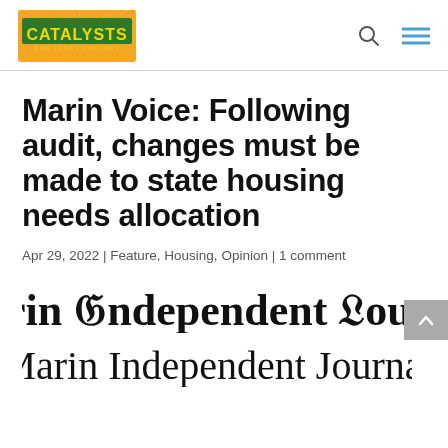Catalysts for Local Control
Marin Voice: Following audit, changes must be made to state housing needs allocation
Apr 29, 2022 | Feature, Housing, Opinion | 1 comment
[Figure (logo): Marin Independent Journal newspaper logo in blackletter/gothic font]